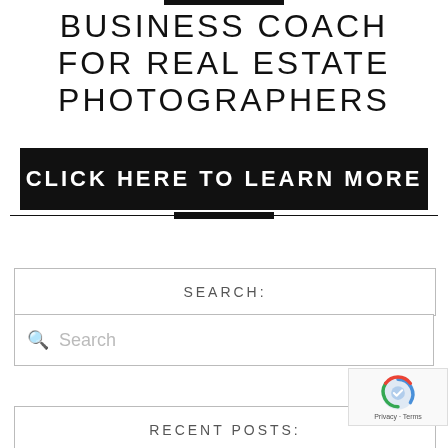BUSINESS COACH FOR REAL ESTATE PHOTOGRAPHERS
[Figure (infographic): Black banner button with text CLICK HERE TO LEARN MORE]
SEARCH:
Search
RECENT POSTS: